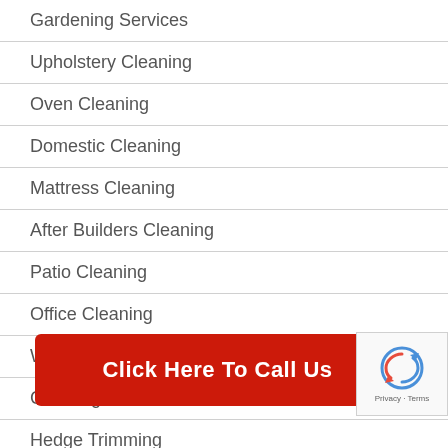Gardening Services
Upholstery Cleaning
Oven Cleaning
Domestic Cleaning
Mattress Cleaning
After Builders Cleaning
Patio Cleaning
Office Cleaning
Window Cleaning
Cleaning Services
Hedge Trimming
Lawn
Bathroom Cleaning
Click Here To Call Us